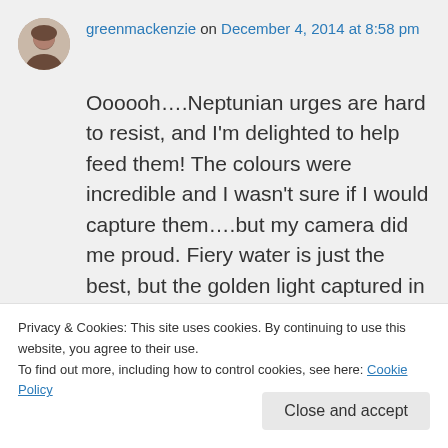greenmackenzie on December 4, 2014 at 8:58 pm
Oooooh….Neptunian urges are hard to resist, and I'm delighted to help feed them! The colours were incredible and I wasn't sure if I would capture them….but my camera did me proud. Fiery water is just the best, but the golden light captured in the splash was so beautiful it had me
Privacy & Cookies: This site uses cookies. By continuing to use this website, you agree to their use.
To find out more, including how to control cookies, see here: Cookie Policy
Close and accept